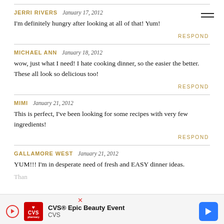JERRI RIVERS   January 17, 2012
I'm definitely hungry after looking at all of that! Yum!
RESPOND
MICHAEL ANN   January 18, 2012
wow, just what I need! I hate cooking dinner, so the easier the better. These all look so delicious too!
RESPOND
MIMI   January 21, 2012
This is perfect, I've been looking for some recipes with very few ingredients!
RESPOND
GALLAMORE WEST   January 21, 2012
YUM!!! I'm in desperate need of fresh and EASY dinner ideas.
[Figure (infographic): CVS Epic Beauty Event advertisement banner at bottom of page]